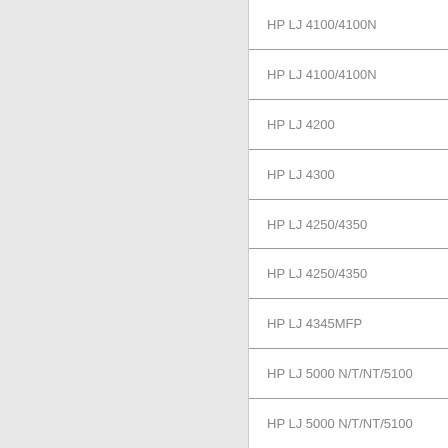| Printer Model |
| --- |
| HP LJ 4100/4100N |
| HP LJ 4100/4100N |
| HP LJ 4200 |
| HP LJ 4300 |
| HP LJ 4250/4350 |
| HP LJ 4250/4350 |
| HP LJ 4345MFP |
| HP LJ 5000 N/T/NT/5100 |
| HP LJ 5000 N/T/NT/5100 |